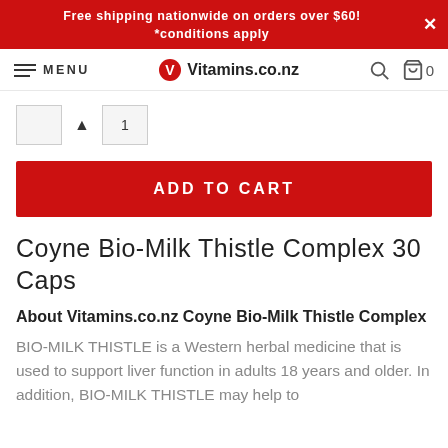Free shipping nationwide on orders over $60!
*conditions apply
[Figure (screenshot): Navigation bar with hamburger menu (MENU), Vitamins.co.nz logo, search icon, and cart icon showing 0 items]
[Figure (screenshot): Quantity selector with minus button, value field showing 1, and plus button]
ADD TO CART
Coyne Bio-Milk Thistle Complex 30 Caps
About Vitamins.co.nz Coyne Bio-Milk Thistle Complex
BIO-MILK THISTLE is a Western herbal medicine that is used to support liver function in adults 18 years and older. In addition, BIO-MILK THISTLE may help to